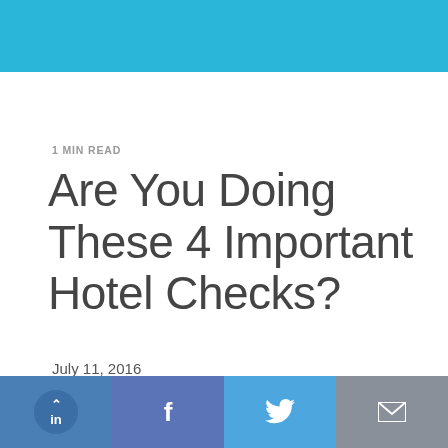1 MIN READ
Are You Doing These 4 Important Hotel Checks?
July 11, 2016
LinkedIn | Facebook | Twitter | Email